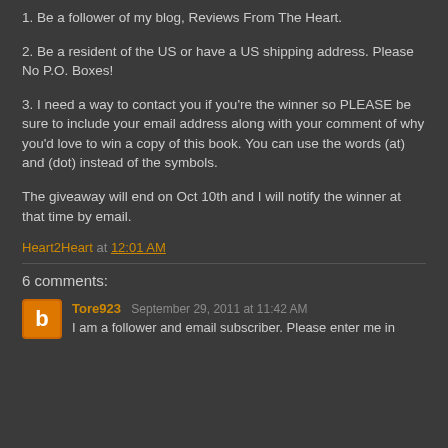1. Be a follower of my blog, Reviews From The Heart.
2. Be a resident of the US or have a US shipping address. Please No P.O. Boxes!
3. I need a way to contact you if you're the winner so PLEASE be sure to include your email address along with your comment of why you'd love to win a copy of this book. You can use the words (at) and (dot) instead of the symbols.
The giveaway will end on Oct 10th and I will notify the winner at that time by email.
Heart2Heart at 12:01 AM
6 comments:
Tore923 September 29, 2011 at 11:42 AM
I am a follower and email subscriber. Please enter me in